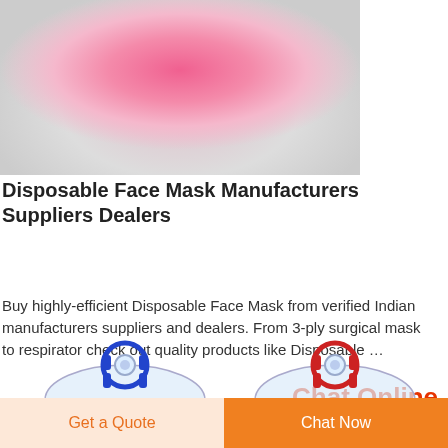[Figure (photo): Close-up photo of a pink disposable face mask, showing the rounded dome shape and inner structure.]
Disposable Face Mask Manufacturers Suppliers Dealers
Buy highly-efficient Disposable Face Mask from verified Indian manufacturers suppliers and dealers. From 3-ply surgical mask to respirator check out quality products like Disposable …
Chat Online
[Figure (photo): Two oxygen/anesthesia face masks shown from above — one with a blue connector ring and one with a red connector ring, both transparent with clear body.]
Get a Quote   Chat Now